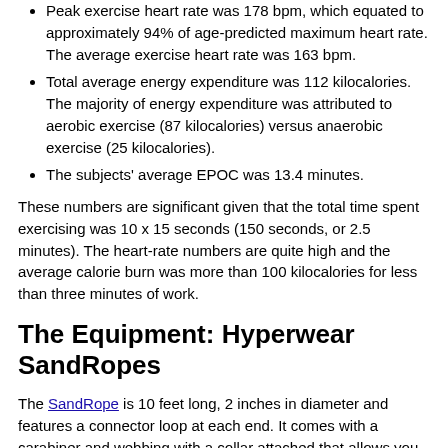Peak exercise heart rate was 178 bpm, which equated to approximately 94% of age-predicted maximum heart rate. The average exercise heart rate was 163 bpm.
Total average energy expenditure was 112 kilocalories. The majority of energy expenditure was attributed to aerobic exercise (87 kilocalories) versus anaerobic exercise (25 kilocalories).
The subjects' average EPOC was 13.4 minutes.
These numbers are significant given that the total time spent exercising was 10 x 15 seconds (150 seconds, or 2.5 minutes). The heart-rate numbers are quite high and the average calorie burn was more than 100 kilocalories for less than three minutes of work.
The Equipment: Hyperwear SandRopes
The SandRope is 10 feet long, 2 inches in diameter and features a connector loop at each end. It comes with a carabiner and webbing with a collar attached that allows you to create an optional handle at the end of the rope. The design of the SandRope makes it possible to perform high-